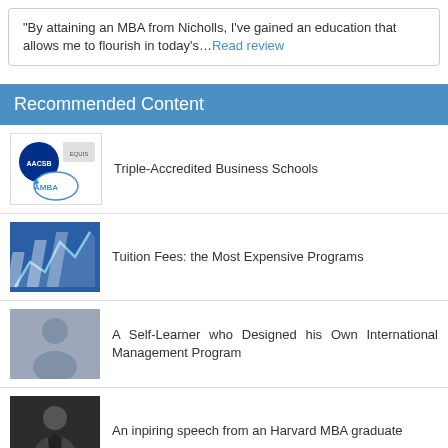“By attaining an MBA from Nicholls, I’ve gained an education that allows me to flourish in today’s…Read review
Recommended Content
Triple-Accredited Business Schools
Tuition Fees: the Most Expensive Programs
A Self-Learner who Designed his Own International Management Program
An inpiring speech from an Harvard MBA graduate
Newly Admitted Wharton MBA Student and Proud Mother Set To Launch New Venture